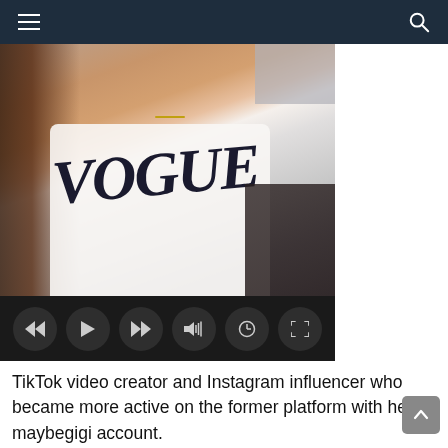≡  [search icon]
[Figure (screenshot): Video player showing a person wearing a white VOGUE t-shirt, with dark video playback controls at the bottom including rewind, play, fast-forward, volume, timer, and fullscreen buttons]
TikTok video creator and Instagram influencer who became more active on the former platform with her maybegigi account.
She was only 14 years old when she began to find